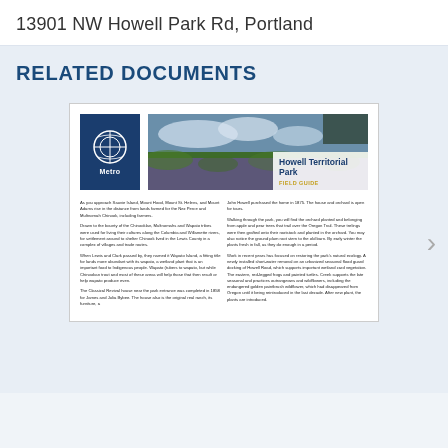13901 NW Howell Park Rd, Portland
RELATED DOCUMENTS
[Figure (screenshot): Screenshot of a Howell Territorial Park Field Guide document card, showing the Metro logo, a photo of a purple flower field, the park name overlay, and two columns of small descriptive text about the park's history and ecology.]